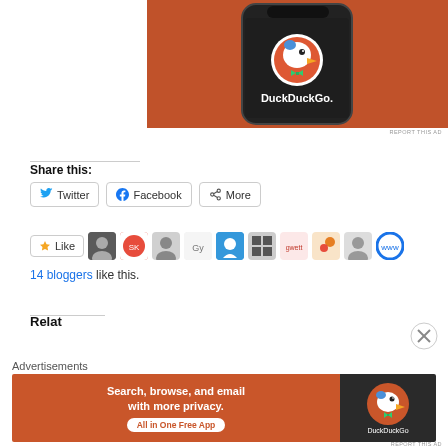[Figure (screenshot): DuckDuckGo advertisement showing the DuckDuckGo app icon on a smartphone with orange background]
REPORT THIS AD
Share this:
[Figure (screenshot): Social share buttons: Twitter, Facebook, More]
[Figure (screenshot): Like button and 11 blogger avatar thumbnails]
14 bloggers like this.
Related
Advertisements
[Figure (screenshot): DuckDuckGo banner ad: Search, browse, and email with more privacy. All in One Free App]